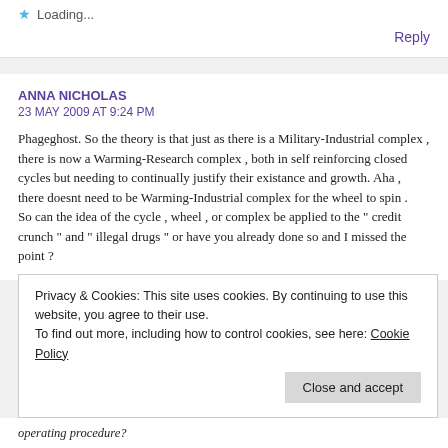Loading...
Reply
ANNA NICHOLAS
23 MAY 2009 AT 9:24 PM
Phageghost. So the theory is that just as there is a Military-Industrial complex , there is now a Warming-Research complex , both in self reinforcing closed cycles but needing to continually justify their existance and growth. Aha , there doesnt need to be Warming-Industrial complex for the wheel to spin . So can the idea of the cycle , wheel , or complex be applied to the " credit crunch " and " illegal drugs " or have you already done so and I missed the point ?
Privacy & Cookies: This site uses cookies. By continuing to use this website, you agree to their use.
To find out more, including how to control cookies, see here: Cookie Policy
Close and accept
operating procedure?